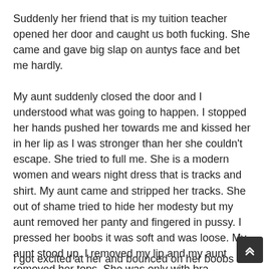Suddenly her friend that is my tuition teacher opened her door and caught us both fucking. She came and gave big slap on auntys face and bet me hardly.
My aunt suddenly closed the door and I understood what was going to happen. I stopped her hands pushed her towards me and kissed her in her lip as I was stronger than her she couldn't escape. She tried to full me. She is a modern women and wears night dress that is tracks and shirt. My aunt came and stripped her tracks. She out of shame tried to hide her modesty but my aunt removed her panty and fingered in pussy. I pressed her boobs it was soft and was loose. My aunt stood up. I removed my lip and my aunt removed her tops. She was only with bra.
I got excited at her and bounced on her boobs and